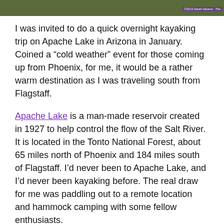[Figure (photo): Partial view of a nature/outdoor photo at the top of the page, showing rocky terrain and vegetation. A small purple watermark is visible in the top right corner.]
I was invited to do a quick overnight kayaking trip on Apache Lake in Arizona in January. Coined a “cold weather” event for those coming up from Phoenix, for me, it would be a rather warm destination as I was traveling south from Flagstaff.
Apache Lake is a man-made reservoir created in 1927 to help control the flow of the Salt River. It is located in the Tonto National Forest, about 65 miles north of Phoenix and 184 miles south of Flagstaff. I’d never been to Apache Lake, and I’d never been kayaking before. The real draw for me was paddling out to a remote location and hammock camping with some fellow enthusiasts.
As this was my first trip to the Tonto Basin, I stopped along the way in Strawberry and Pine and then proceeded to